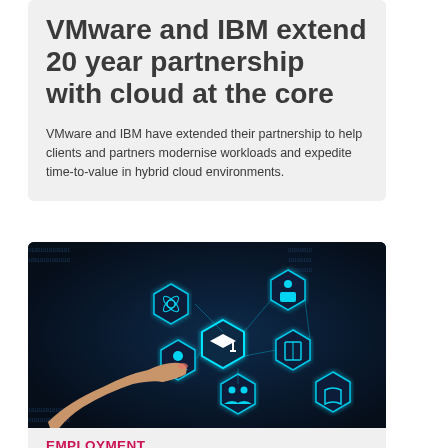VMware and IBM extend 20 year partnership with cloud at the core
VMware and IBM have extended their partnership to help clients and partners modernise workloads and expedite time-to-value in hybrid cloud environments.
[Figure (photo): A hand pointing at glowing blue hexagonal technology icons against a dark background, representing digital education and connectivity themes]
EMPLOYMENT
87% of all jobs